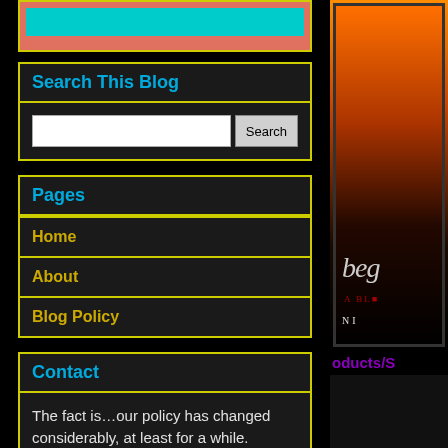[Figure (other): Top promotional banner partially visible, salmon/coral background with cyan inner bar, yellow border]
Search This Blog
Search input field with Search button
Pages
Home
About
Blog Policy
Contact
The fact is…our policy has changed considerably, at least for a while. Starting from September, I will be charging for some types of posts. There is no fee for a
[Figure (photo): Partial book cover visible on right side showing dark orange/fire sky, decorative text 'beg' and 'a blo', author partial text 'NI']
oducts/S